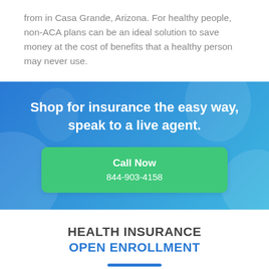from in Casa Grande, Arizona. For healthy people, non-ACA plans can be an ideal solution to save money at the cost of benefits that a healthy person may never use.
[Figure (infographic): Blue gradient banner with decorative circles. Text: 'Shop for insurance the easy way, speak to a live agent.' Green call-to-action button showing 'Call Now' and phone number '844-903-4158'.]
HEALTH INSURANCE OPEN ENROLLMENT